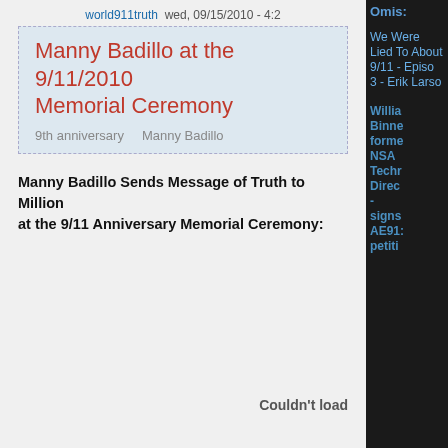world911truth  wed, 09/15/2010 - 4:2
Manny Badillo at the 9/11/2010 Memorial Ceremony
9th anniversary    Manny Badillo
Manny Badillo Sends Message of Truth to Millions at the 9/11 Anniversary Memorial Ceremony:
Couldn't load
Omis:
We Were Lied To About 9/11 - Episode 3 - Erik Larson
William Binney, former NSA Technical Director - signs AE911 petition